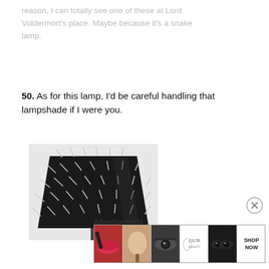reason, I can totally see one of these at Lord Voldermort's place. Maybe because it's a snake lamp.
50. As for this lamp, I'd be careful handling that lampshade if I were you.
[Figure (photo): A black lampshade covered with metallic spikes, photographed against a light background.]
[Figure (other): Close button (X circle) in the top right area of the page.]
Advertisements
[Figure (photo): Ulta Beauty advertisement banner showing makeup looks including lips, brush, eye, Ulta logo, smoky eyes, and SHOP NOW call to action.]